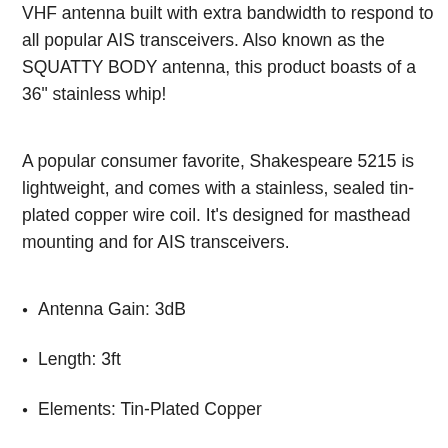Shakespeare 5215 is a lightweight, stainless steel VHF antenna built with extra bandwidth to respond to all popular AIS transceivers. Also known as the SQUATTY BODY antenna, this product boasts of a 36" stainless whip!
A popular consumer favorite, Shakespeare 5215 is lightweight, and comes with a stainless, sealed tin-plated copper wire coil. It's designed for masthead mounting and for AIS transceivers.
Antenna Gain: 3dB
Length: 3ft
Elements: Tin-Plated Copper